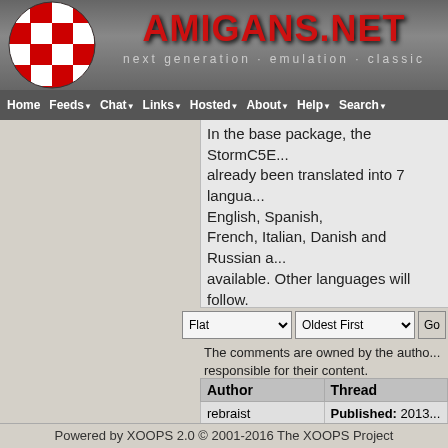[Figure (logo): Amigans.net website header with red checkerboard globe logo on left and AMIGANS.NET title in red on grey background with tagline 'next generation · emulation · classic']
Home  Feeds  Chat  Links  Hosted  About  Help  Search
In the base package, the StormC5ED... already been translated into 7 languages: English, Spanish, French, Italian, Danish and Russian are available. Other languages will follow.
More information about StormC5ED fi... product website
The comments are owned by the author. responsible for their content.
| Author | Thread |
| --- | --- |
| rebraist | Published: 2013... 21:52  Updated:... |
Powered by XOOPS 2.0 © 2001-2016 The XOOPS Project